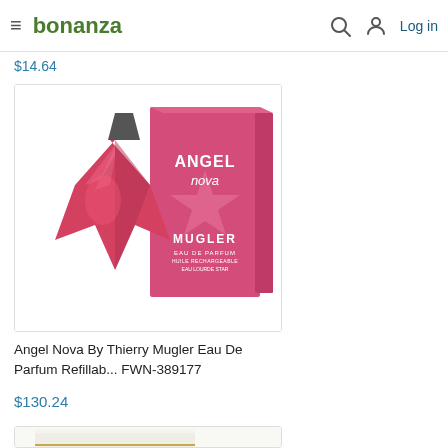bonanza — Log in
$14.64
[Figure (photo): Angel Nova by Thierry Mugler perfume product photo showing star-shaped pink/red bottle next to pink product box with ANGEL nova MUGLER Eau de Parfum text]
Angel Nova By Thierry Mugler Eau De Parfum Refillab... FWN-389177
$130.24
[Figure (photo): Partial view of a white/cream colored perfume box with gold trim at bottom of page]